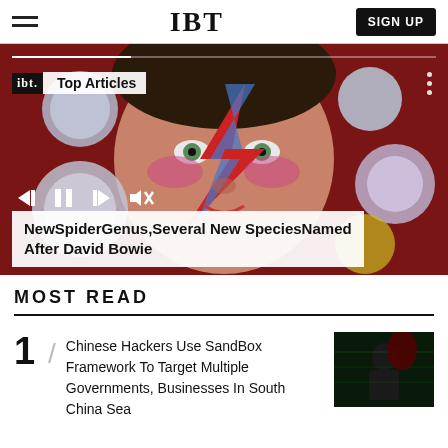IBT
[Figure (screenshot): IBT Top Articles video player showing a David Bowie-style mural face with lightning bolt makeup, colorful painted circles, playback controls, and article title overlay reading: NewSpiderGenus,Several New SpeciesNamed After David Bowie]
NewSpiderGenus,Several New SpeciesNamed After David Bowie
MOST READ
Chinese Hackers Use SandBox Framework To Target Multiple Governments, Businesses In South China Sea